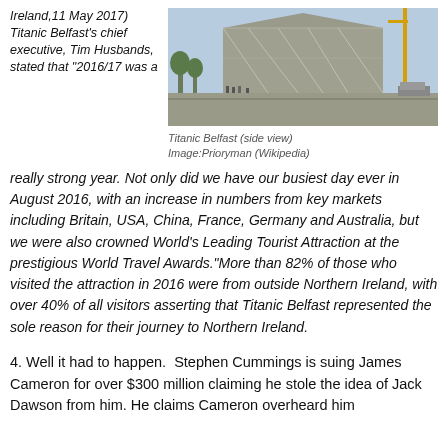Ireland,11 May 2017) Titanic Belfast's chief executive, Tim Husbands, stated that "2016/17 was a
[Figure (photo): Titanic Belfast building side view, modern angular architecture with metallic facade]
Titanic Belfast (side view)
Image:Prioryman (Wikipedia)
really strong year. Not only did we have our busiest day ever in August 2016, with an increase in numbers from key markets including Britain, USA, China, France, Germany and Australia, but we were also crowned World's Leading Tourist Attraction at the prestigious World Travel Awards."More than 82% of those who visited the attraction in 2016 were from outside Northern Ireland, with over 40% of all visitors asserting that Titanic Belfast represented the sole reason for their journey to Northern Ireland.
4. Well it had to happen.  Stephen Cummings is suing James Cameron for over $300 million claiming he stole the idea of Jack Dawson from him. He claims Cameron overheard him